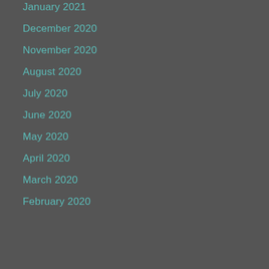January 2021
December 2020
November 2020
August 2020
July 2020
June 2020
May 2020
April 2020
March 2020
February 2020